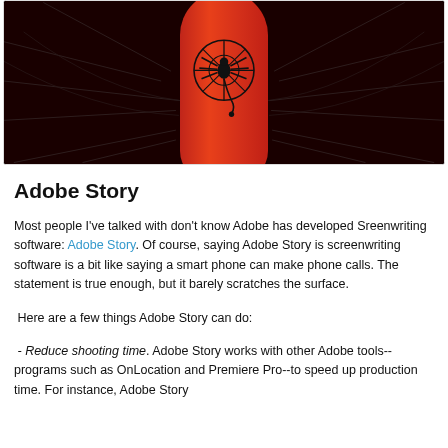[Figure (photo): A finger with red and black spider/scorpion body art tattoo design, shown against a dark black background with subtle web patterns.]
Adobe Story
Most people I've talked with don't know Adobe has developed Sreenwriting software: Adobe Story. Of course, saying Adobe Story is screenwriting software is a bit like saying a smart phone can make phone calls. The statement is true enough, but it barely scratches the surface.
Here are a few things Adobe Story can do:
- Reduce shooting time. Adobe Story works with other Adobe tools--programs such as OnLocation and Premiere Pro--to speed up production time. For instance, Adobe Story